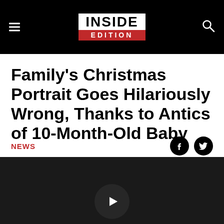INSIDE EDITION
Family's Christmas Portrait Goes Hilariously Wrong, Thanks to Antics of 10-Month-Old Baby
NEWS
[Figure (other): Dark video thumbnail with a play button in the center-bottom area]